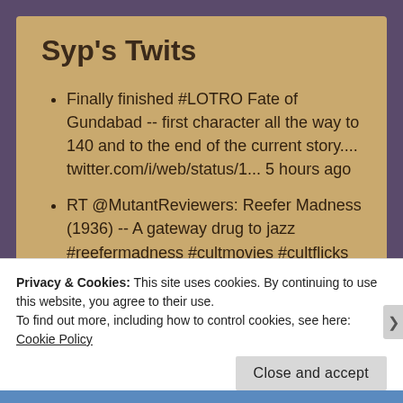Syp's Twits
Finally finished #LOTRO Fate of Gundabad -- first character all the way to 140 and to the end of the current story.... twitter.com/i/web/status/1... 5 hours ago
RT @MutantReviewers: Reefer Madness (1936) -- A gateway drug to jazz #reefermadness #cultmovies #cultflicks #cultfilms https://t.co/zCk7aEX... 9 hours ago
Privacy & Cookies: This site uses cookies. By continuing to use this website, you agree to their use.
To find out more, including how to control cookies, see here: Cookie Policy
Close and accept